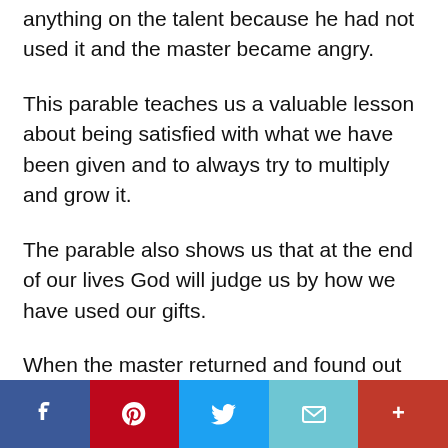anything on the talent because he had not used it and the master became angry.
This parable teaches us a valuable lesson about being satisfied with what we have been given and to always try to multiply and grow it.
The parable also shows us that at the end of our lives God will judge us by how we have used our gifts.
When the master returned and found out that the man with five talents had multiplied it, he gave him